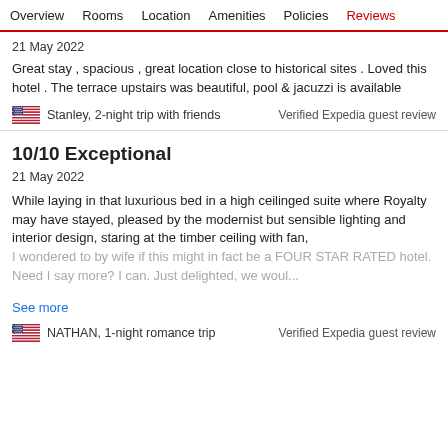Overview  Rooms  Location  Amenities  Policies  Reviews
21 May 2022
Great stay , spacious , great location close to historical sites . Loved this hotel . The terrace upstairs was beautiful, pool & jacuzzi is available
Stanley, 2-night trip with friends    Verified Expedia guest review
10/10 Exceptional
21 May 2022
While laying in that luxurious bed in a high ceilinged suite where Royalty may have stayed, pleased by the modernist but sensible lighting and interior design, staring at the timber ceiling with fan, I wondered to by wife if this might in fact be a FOUR STAR RATED hotel. Need I say more? I can. Just delighted, we woul...
See more
NATHAN, 1-night romance trip    Verified Expedia guest review